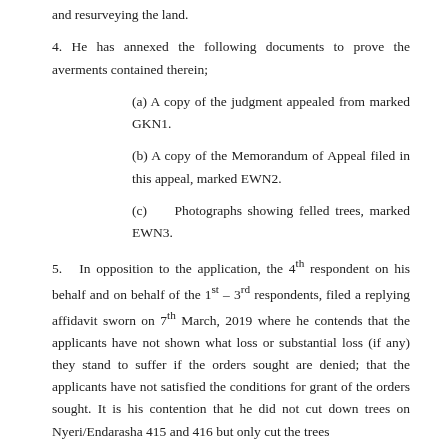and resurveying the land.
4. He has annexed the following documents to prove the averments contained therein;
(a) A copy of the judgment appealed from marked GKN1.
(b) A copy of the Memorandum of Appeal filed in this appeal, marked EWN2.
(c)   Photographs showing felled trees, marked EWN3.
5.  In opposition to the application, the 4th respondent on his behalf and on behalf of the 1st – 3rd respondents, filed a replying affidavit sworn on 7th March, 2019 where he contends that the applicants have not shown what loss or substantial loss (if any) they stand to suffer if the orders sought are denied; that the applicants have not satisfied the conditions for grant of the orders sought. It is his contention that he did not cut down trees on Nyeri/Endarasha 415 and 416 but only cut the trees